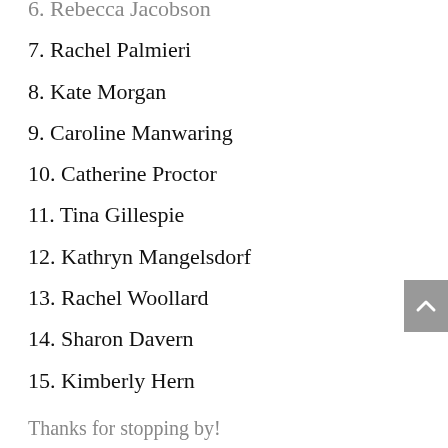6. Rebecca Jacobson
7. Rachel Palmieri
8. Kate Morgan
9. Caroline Manwaring
10. Catherine Proctor
11. Tina Gillespie
12. Kathryn Mangelsdorf
13. Rachel Woollard
14. Sharon Davern
15. Kimberly Hern
Thanks for stopping by!